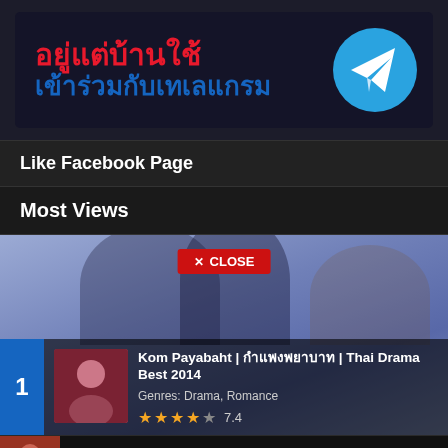[Figure (illustration): Telegram promotion banner with Thai text in red and blue, and Telegram logo icon on right]
Like Facebook Page
Most Views
[Figure (screenshot): Featured drama card showing Kom Payabaht Thai Drama with actors, ranked #1, genres Drama Romance, rating 7.4 stars, with red CLOSE button overlay]
[Figure (screenshot): Next list item strip showing second drama title partially visible at bottom]